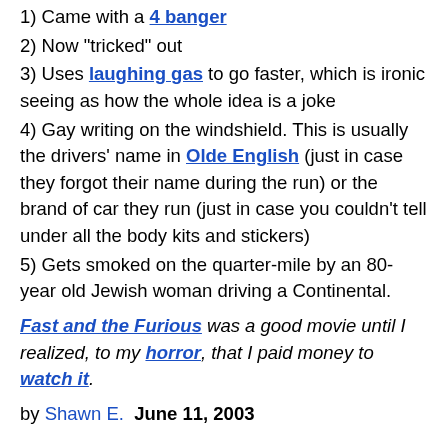1) Came with a 4 banger
2) Now "tricked" out
3) Uses laughing gas to go faster, which is ironic seeing as how the whole idea is a joke
4) Gay writing on the windshield. This is usually the drivers' name in Olde English (just in case they forgot their name during the run) or the brand of car they run (just in case you couldn't tell under all the body kits and stickers)
5) Gets smoked on the quarter-mile by an 80-year old Jewish woman driving a Continental.
Fast and the Furious was a good movie until I realized, to my horror, that I paid money to watch it.
by Shawn E.  June 11, 2003